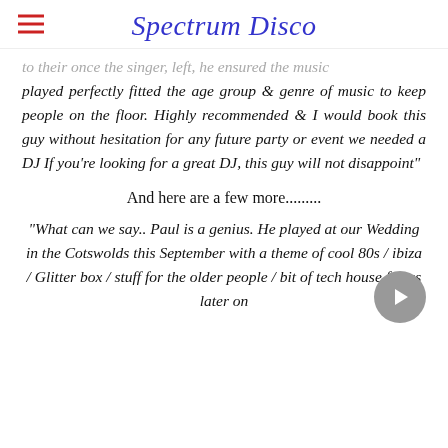Spectrum Disco
to their once the singer, left, he ensured the music played perfectly fitted the age group & genre of music to keep people on the floor. Highly recommended & I would book this guy without hesitation for any future party or event we needed a DJ If you're looking for a great DJ, this guy will not disappoint"
And here are a few more.........
“What can we say.. Paul is a genius. He played at our Wedding in the Cotswolds this September with a theme of cool 80s / ibiza / Glitter box / stuff for the older people / bit of tech house for us later on